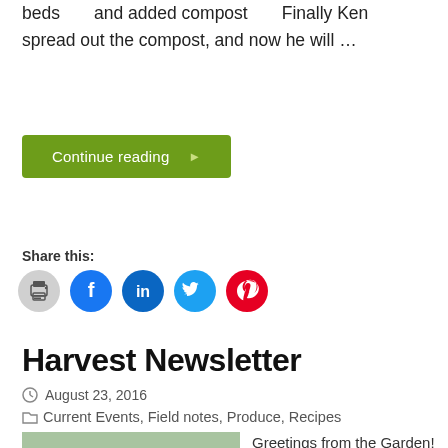beds and added compost Finally Ken spread out the compost, and now he will …
Continue reading ▶
Share this:
[Figure (other): Social sharing icons: print, Facebook, LinkedIn, Twitter, Pinterest]
Harvest Newsletter
August 23, 2016
Current Events, Field notes, Produce, Recipes
Greetings from the Garden! This week's CSA